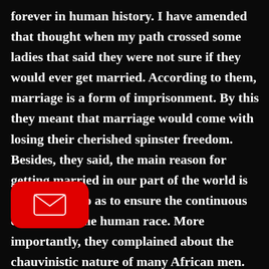forever in human history. I have amended that thought when my path crossed some ladies that said they were not sure if they would ever get married. According to them, marriage is a form of imprisonment. By this they meant that marriage would come with losing their cherished spinster freedom. Besides, they said, the main reason for getting married in our part of the world is procreation so as to ensure the continuous existence of the human race. More importantly, they complained about the chauvinistic nature of many African men. These male chauvinists see w[...] mere properties with no existence of t[...] ther than living under the shadow of their husbands. This chauvinism, they
[Figure (other): Red rounded rectangle icon with white envelope/mail symbol overlay, partially covering text]